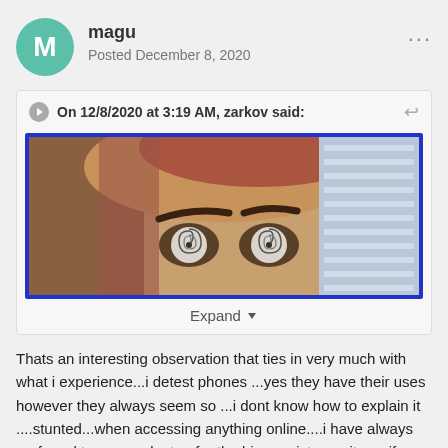magu
Posted December 8, 2020
On 12/8/2020 at 3:19 AM, zarkov said:
[Figure (photo): Close-up of a woman's forehead and eyes with spiral hypnotic eyes effect, blue border around image]
Expand
Thats an interesting observation that ties in very much with what i experience...i detest phones ...yes they have their uses however they always seem so ...i dont know how to explain it ....stunted...when accessing anything online....i have always preferred to use my laptop for the bigger picture ...its as if